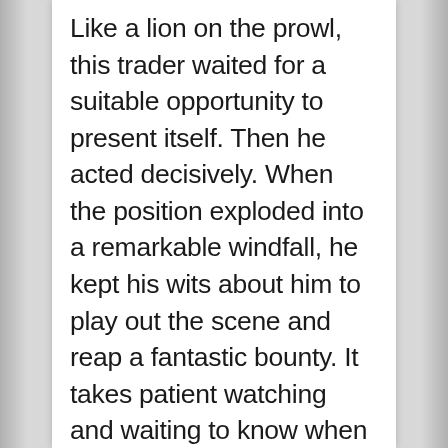Like a lion on the prowl, this trader waited for a suitable opportunity to present itself. Then he acted decisively. When the position exploded into a remarkable windfall, he kept his wits about him to play out the scene and reap a fantastic bounty. It takes patient watching and waiting to know when a market suggests the right opportunity. It takes honesty and good relationships to continue the journey begun with that first successful trade - to trade for a living. Today we humbly offer some basic insights into how one might hold on to the gains that may fall your way, allowing you to not only earn profits, but to also, perhaps, earn a living through